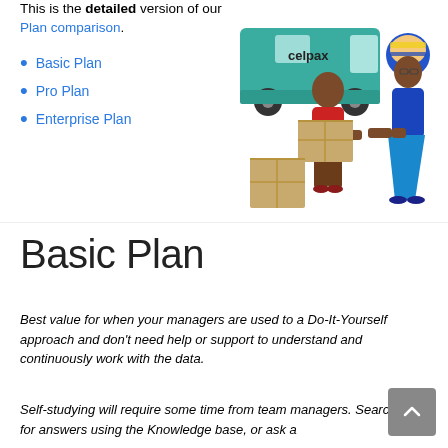This is the detailed version of our Plan comparison.
[Figure (illustration): Cartoon illustration of a celpax delivery van in teal/green, a bald man in a red shirt carrying a cardboard box, and a woman in blue clothing with a head wrap receiving the box. Additional cardboard box on the ground.]
Basic Plan
Pro Plan
Enterprise Plan
Basic Plan
Best value for when your managers are used to a Do-It-Yourself approach and don't need help or support to understand and continuously work with the data.
Self-studying will require some time from team managers. Search for answers using the Knowledge base, or ask a question in the forum.